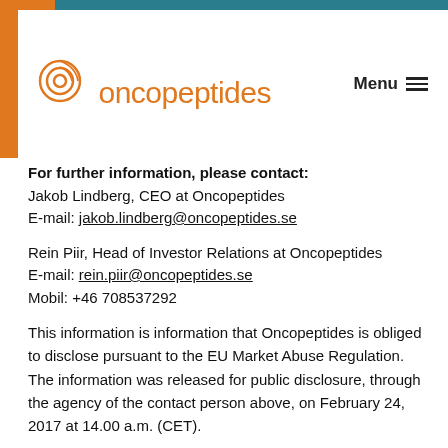[Figure (logo): Oncopeptides logo with orange circular icon and orange text]
For further information, please contact:
Jakob Lindberg, CEO at Oncopeptides
E-mail: jakob.lindberg@oncopeptides.se
Rein Piir, Head of Investor Relations at Oncopeptides
E-mail: rein.piir@oncopeptides.se
Mobil: +46 708537292
This information is information that Oncopeptides is obliged to disclose pursuant to the EU Market Abuse Regulation. The information was released for public disclosure, through the agency of the contact person above, on February 24, 2017 at 14.00 a.m. (CET).
About Oncopeptides